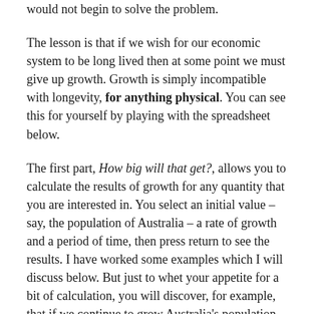would not begin to solve the problem.
The lesson is that if we wish for our economic system to be long lived then at some point we must give up growth. Growth is simply incompatible with longevity, for anything physical. You can see this for yourself by playing with the spreadsheet below.
The first part, How big will that get?, allows you to calculate the results of growth for any quantity that you are interested in. You select an initial value – say, the population of Australia – a rate of growth and a period of time, then press return to see the results. I have worked some examples which I will discuss below. But just to whet your appetite for a bit of calculation, you will discover, for example, that if we continue to grow Australia's population at its current rate for as many years into the future as we have recorded history of Europeans in Australia, our fair land will be home to over 33 billion people in a bit over 400